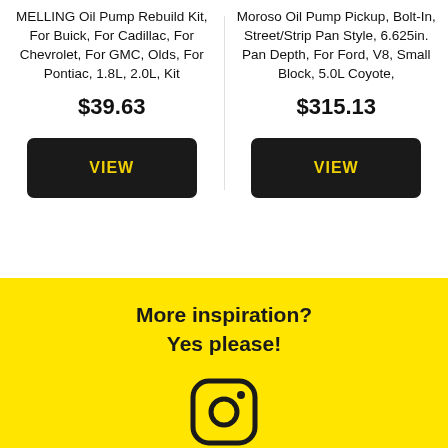MELLING Oil Pump Rebuild Kit, For Buick, For Cadillac, For Chevrolet, For GMC, Olds, For Pontiac, 1.8L, 2.0L, Kit
$39.63
VIEW
Moroso Oil Pump Pickup, Bolt-In, Street/Strip Pan Style, 6.625in. Pan Depth, For Ford, V8, Small Block, 5.0L Coyote,
$315.13
VIEW
More inspiration?
Yes please!
[Figure (illustration): Instagram logo icon in dark color on yellow background]